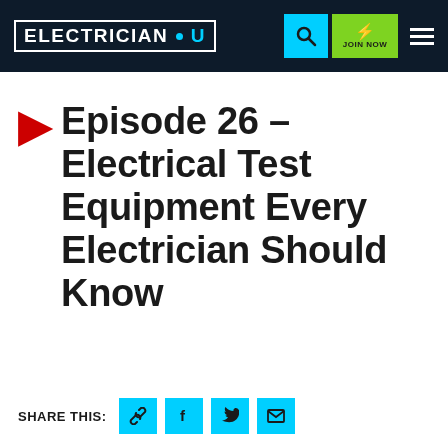ELECTRICIAN U — Navigation bar with logo, search button, JOIN NOW button, and hamburger menu
Episode 26 – Electrical Test Equipment Every Electrician Should Know
SHARE THIS: